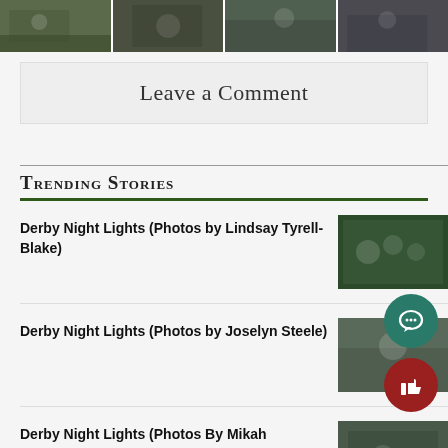[Figure (photo): A strip of four sports/event photos at the top of the page]
Leave a Comment
Trending Stories
Derby Night Lights (Photos by Lindsay Tyrell-Blake)
[Figure (photo): Thumbnail photo of a sports team in green jerseys]
Derby Night Lights (Photos by Joselyn Steele)
[Figure (photo): Thumbnail photo related to Derby Night Lights]
Derby Night Lights (Photos By Mikah Herzberg)
[Figure (photo): Thumbnail photo related to Derby Night Lights by Mikah Herzberg]